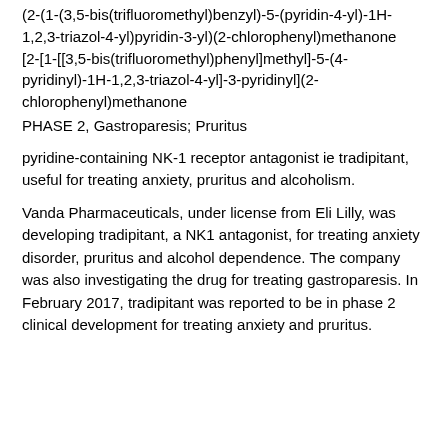(2-(1-(3,5-bis(trifluoromethyl)benzyl)-5-(pyridin-4-yl)-1H-1,2,3-triazol-4-yl)pyridin-3-yl)(2-chlorophenyl)methanone [2-[1-[[3,5-bis(trifluoromethyl)phenyl]methyl]-5-(4-pyridinyl)-1H-1,2,3-triazol-4-yl]-3-pyridinyl](2-chlorophenyl)methanone
PHASE 2, Gastroparesis; Pruritus
pyridine-containing NK-1 receptor antagonist ie tradipitant, useful for treating anxiety, pruritus and alcoholism.
Vanda Pharmaceuticals, under license from Eli Lilly, was developing tradipitant, a NK1 antagonist, for treating anxiety disorder, pruritus and alcohol dependence. The company was also investigating the drug for treating gastroparesis. In February 2017, tradipitant was reported to be in phase 2 clinical development for treating anxiety and pruritus.